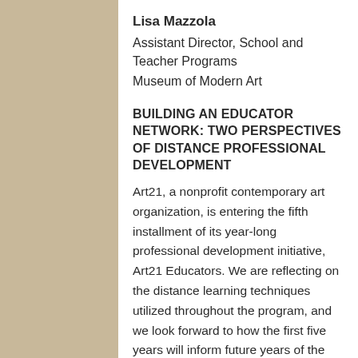Lisa Mazzola
Assistant Director, School and Teacher Programs
Museum of Modern Art
BUILDING AN EDUCATOR NETWORK: TWO PERSPECTIVES OF DISTANCE PROFESSIONAL DEVELOPMENT
Art21, a nonprofit contemporary art organization, is entering the fifth installment of its year-long professional development initiative, Art21 Educators. We are reflecting on the distance learning techniques utilized throughout the program, and we look forward to how the first five years will inform future years of the